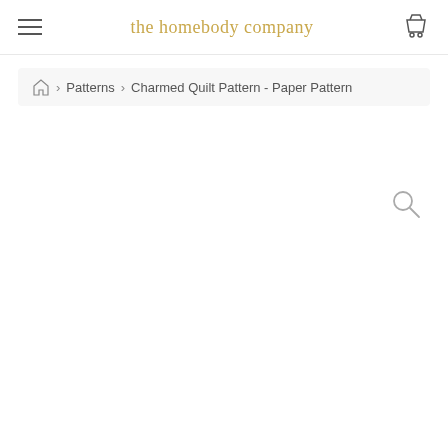the homebody company
Home > Patterns > Charmed Quilt Pattern - Paper Pattern
[Figure (other): Search magnifying glass icon in upper right area]